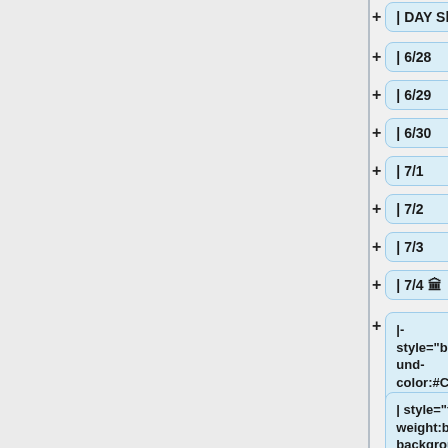+ | DAY Shift
+ | 6/28
+ | 6/29
+ | 6/30
+ | 7/1
+ | 7/2
+ | 7/3
+ | 7/4 🏛
+ |- style="background-color:#CFE0E8;"
| style="font-weight:bold; background-